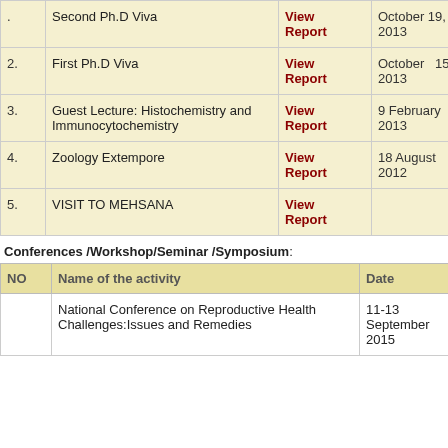|  | Name of the activity | Report | Date |
| --- | --- | --- | --- |
| . | Second Ph.D Viva | View Report | October 19, 2013 |
| 2. | First Ph.D Viva | View Report | October 15 2013 |
| 3. | Guest Lecture: Histochemistry and Immunocytochemistry | View Report | 9 February 2013 |
| 4. | Zoology Extempore | View Report | 18 August 2012 |
| 5. | VISIT TO MEHSANA | View Report |  |
Conferences /Workshop/Seminar /Symposium:
| NO | Name of the activity | Date | REPO |
| --- | --- | --- | --- |
|  | National Conference on Reproductive Health Challenges:Issues and Remedies | 11-13 September 2015 | View ... |